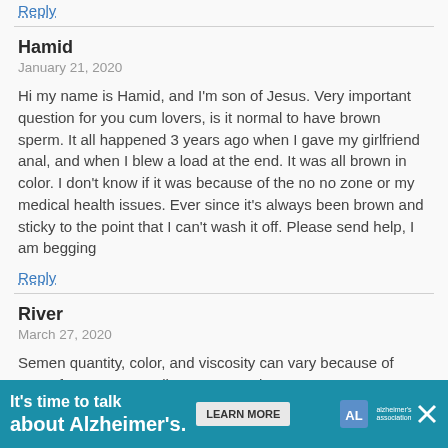Reply
Hamid
January 21, 2020
Hi my name is Hamid, and I'm son of Jesus. Very important question for you cum lovers, is it normal to have brown sperm. It all happened 3 years ago when I gave my girlfriend anal, and when I blew a load at the end. It was all brown in color. I don't know if it was because of the no no zone or my medical health issues. Ever since it's always been brown and sticky to the point that I can't wash it off. Please send help, I am begging
Reply
River
March 27, 2020
Semen quantity, color, and viscosity can vary because of many factors. Generally a young male,
[Figure (infographic): Advertisement banner: It's time to talk about Alzheimer's. with Learn More button and Alzheimer's Association logo]